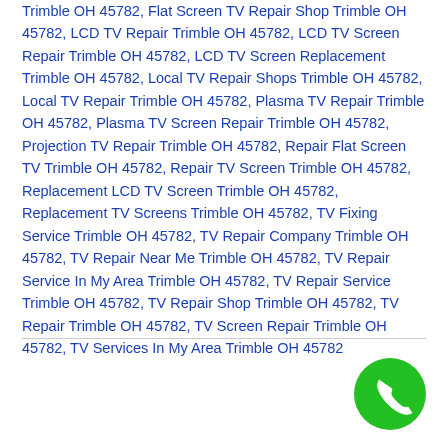Trimble OH 45782, Flat Screen TV Repair Shop Trimble OH 45782, LCD TV Repair Trimble OH 45782, LCD TV Screen Repair Trimble OH 45782, LCD TV Screen Replacement Trimble OH 45782, Local TV Repair Shops Trimble OH 45782, Local TV Repair Trimble OH 45782, Plasma TV Repair Trimble OH 45782, Plasma TV Screen Repair Trimble OH 45782, Projection TV Repair Trimble OH 45782, Repair Flat Screen TV Trimble OH 45782, Repair TV Screen Trimble OH 45782, Replacement LCD TV Screen Trimble OH 45782, Replacement TV Screens Trimble OH 45782, TV Fixing Service Trimble OH 45782, TV Repair Company Trimble OH 45782, TV Repair Near Me Trimble OH 45782, TV Repair Service In My Area Trimble OH 45782, TV Repair Service Trimble OH 45782, TV Repair Shop Trimble OH 45782, TV Repair Trimble OH 45782, TV Screen Repair Trimble OH 45782, TV Services In My Area Trimble OH 45782
[Figure (other): Green circular phone/call button icon in bottom-right corner]